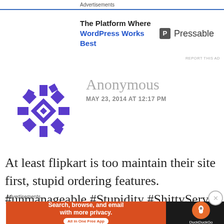Advertisements
[Figure (infographic): Pressable advertisement banner: 'The Platform Where WordPress Works Best' with Pressable logo on the right, blue bottom border]
REPORT THIS AD
[Figure (illustration): Purple geometric snowflake/asterisk avatar for Anonymous user]
Anonymous
MAY 23, 2014 AT 12:17 PM
At least flipkart is too maintain their site first, stupid ordering features. #unmanageable #Stupidity #ShittyServer
Advertisements
[Figure (infographic): DuckDuckGo advertisement: 'Search, browse, and email with more privacy. All in One Free App' orange background left side, dark background with DuckDuckGo logo on right]